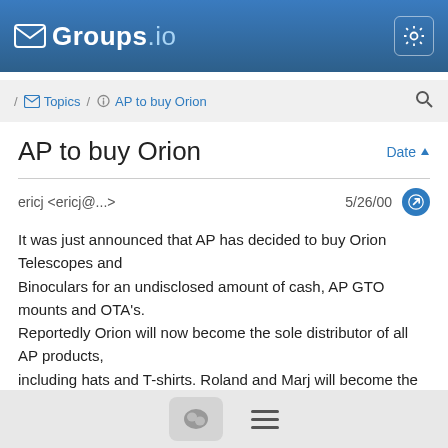Groups.io
/ Topics / AP to buy Orion
AP to buy Orion
ericj <ericj@...>  5/26/00
It was just announced that AP has decided to buy Orion Telescopes and Binoculars for an undisclosed amount of cash, AP GTO mounts and OTA's. Reportedly Orion will now become the sole distributor of all AP products, including hats and T-shirts. Roland and Marj will become the President and CEO respectively of the new company, which is to be named "AP